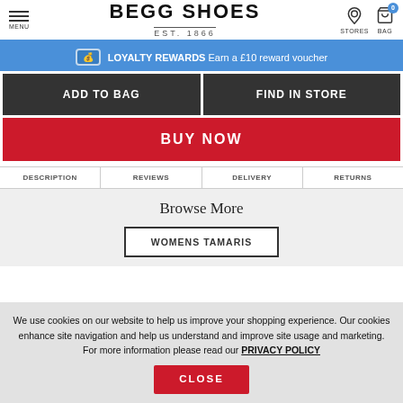BEGG SHOES EST. 1866 — MENU, STORES, BAG
LOYALTY REWARDS Earn a £10 reward voucher
ADD TO BAG
FIND IN STORE
BUY NOW
DESCRIPTION | REVIEWS | DELIVERY | RETURNS
Browse More
WOMENS TAMARIS
We use cookies on our website to help us improve your shopping experience. Our cookies enhance site navigation and help us understand and improve site usage and marketing. For more information please read our PRIVACY POLICY
CLOSE